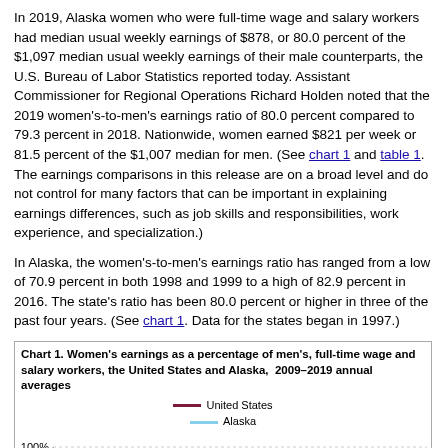In 2019, Alaska women who were full-time wage and salary workers had median usual weekly earnings of $878, or 80.0 percent of the $1,097 median usual weekly earnings of their male counterparts, the U.S. Bureau of Labor Statistics reported today. Assistant Commissioner for Regional Operations Richard Holden noted that the 2019 women's-to-men's earnings ratio of 80.0 percent compared to 79.3 percent in 2018. Nationwide, women earned $821 per week or 81.5 percent of the $1,007 median for men. (See chart 1 and table 1. The earnings comparisons in this release are on a broad level and do not control for many factors that can be important in explaining earnings differences, such as job skills and responsibilities, work experience, and specialization.)
In Alaska, the women's-to-men's earnings ratio has ranged from a low of 70.9 percent in both 1998 and 1999 to a high of 82.9 percent in 2016. The state's ratio has been 80.0 percent or higher in three of the past four years. (See chart 1. Data for the states began in 1997.)
[Figure (line-chart): Line chart showing women's earnings as a percentage of men's for the United States and Alaska from 2009 to 2019. Y-axis shows 90% and 100% gridlines visible in the cropped portion.]